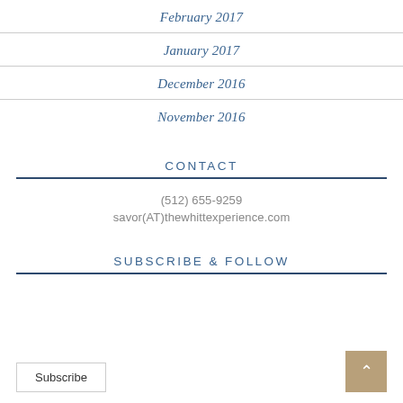February 2017
January 2017
December 2016
November 2016
CONTACT
(512) 655-9259
savor(AT)thewhittexperience.com
SUBSCRIBE & FOLLOW
Subscribe